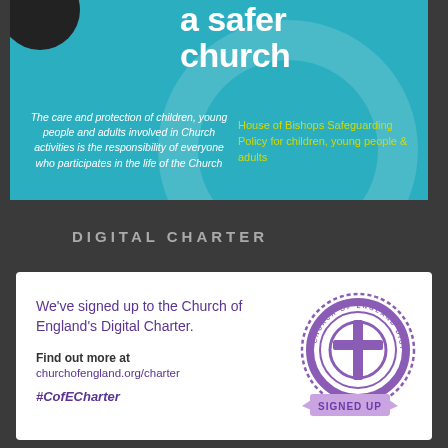[Figure (illustration): Teal banner with white text reading 'a safer church', italic white text on the left about care and protection responsibility, and yellow text on the right reading 'House of Bishops Safeguarding Policy for children, young people & adults'. A circular watermark and partial black circle are visible.]
DIGITAL CHARTER
[Figure (illustration): White card with purple text 'We've signed up to the Church of England's Digital Charter.' and 'Find out more at churchofengland.org/charter' and '#CofECharter'. A purple Church of England Digital Charter 'SIGNED UP' stamp logo is on the right.]